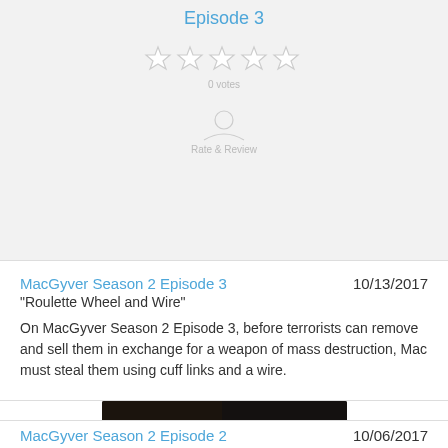Episode 3
[Figure (screenshot): Rating stars and user review area on gray background]
MacGyver Season 2 Episode 3
10/13/2017
"Roulette Wheel and Wire"
On MacGyver Season 2 Episode 3, before terrorists can remove and sell them in exchange for a weapon of mass destruction, Mac must steal them using cuff links and a wire.
[Figure (screenshot): Video thumbnail showing two people at a desk with laptops in a dark room, with Watch Full Episode overlay and play button]
MacGyver Season 2 Episode 2
10/06/2017